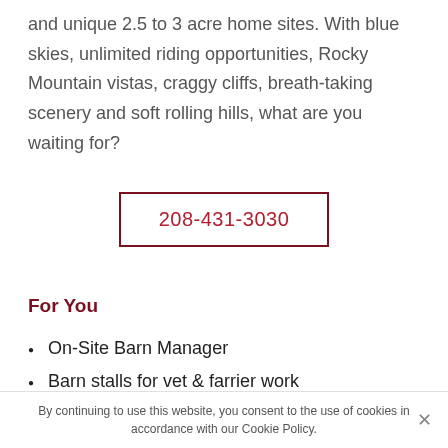and unique 2.5 to 3 acre home sites. With blue skies, unlimited riding opportunities, Rocky Mountain vistas, craggy cliffs, breath-taking scenery and soft rolling hills, what are you waiting for?
208-431-3030
For You
On-Site Barn Manager
Barn stalls for vet & farrier work
By continuing to use this website, you consent to the use of cookies in accordance with our Cookie Policy.